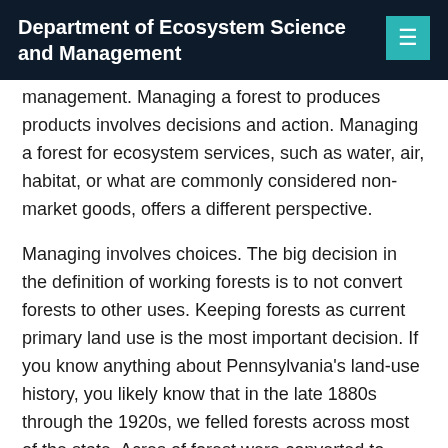Department of Ecosystem Science and Management
management. Managing a forest to produces products involves decisions and action. Managing a forest for ecosystem services, such as water, air, habitat, or what are commonly considered non-market goods, offers a different perspective.
Managing involves choices. The big decision in the definition of working forests is to not convert forests to other uses. Keeping forests as current primary land use is the most important decision. If you know anything about Pennsylvania's land-use history, you likely know that in the late 1880s through the 1920s, we felled forests across most of the state. Acres of forest were converted to agriculture or impacted by coal and mineral extraction.